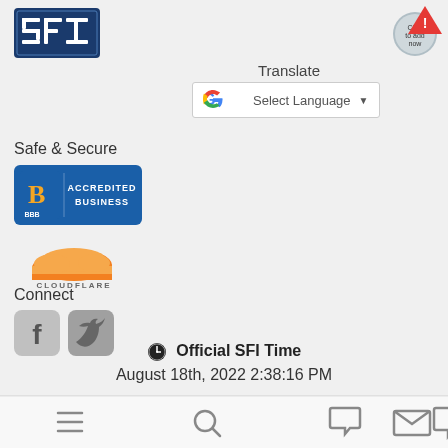[Figure (logo): SFI logo - white text on dark blue background with stylized 'SFI' letters]
[Figure (logo): Small circular badge with warning triangle in top right corner]
Translate
[Figure (screenshot): Google Translate widget - Select Language dropdown]
Safe & Secure
[Figure (logo): BBB Accredited Business badge - blue badge with orange B symbol]
[Figure (logo): Cloudflare logo - orange cloud icon with CLOUDFLARE text]
Connect
[Figure (logo): Facebook icon - dark square with F]
[Figure (logo): Twitter icon - dark square with bird]
Official SFI Time
August 18th, 2022 2:38:16 PM
[Figure (screenshot): Mobile bottom navigation bar with menu, search, chat, mail, and comment icons]